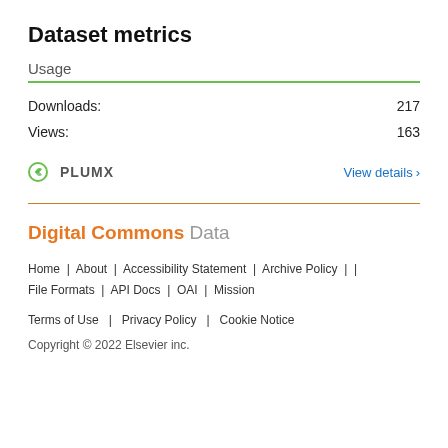Dataset metrics
Usage
Downloads: 217
Views: 163
[Figure (logo): PlumX logo with green leaf icon and 'PLUMX' text, plus 'View details >' link in blue]
Digital Commons Data
Home | About | Accessibility Statement | Archive Policy | File Formats | API Docs | OAI | Mission
Terms of Use | Privacy Policy | Cookie Notice
Copyright © 2022 Elsevier inc.